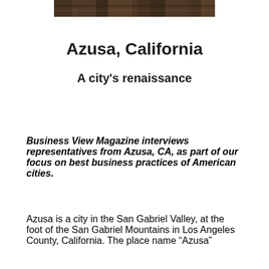[Figure (photo): Partial view of a dark brown rocky/earthen landscape photo at the top of the page]
Azusa, California
A city's renaissance
Business View Magazine interviews representatives from Azusa, CA, as part of our focus on best business practices of American cities.
Azusa is a city in the San Gabriel Valley, at the foot of the San Gabriel Mountains in Los Angeles County, California. The place name “Azusa”